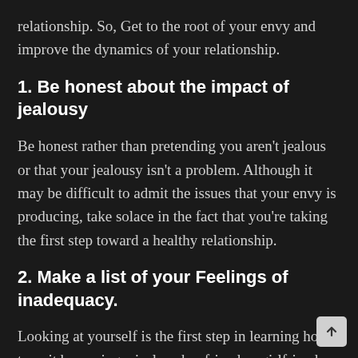relationship. So, Get to the root of your envy and improve the dynamics of your relationship.
1. Be honest about the impact of jealousy
Be honest rather than pretending you aren't jealous or that your jealousy isn't a problem. Although it may be difficult to admit the issues that your envy is producing, take solace in the fact that you're taking the first step toward a healthy relationship.
2. Make a list of your Feelings of inadequacy.
Looking at yourself is the first step in learning how to quit becoming a jealous boyfriend or girlfriend. What insecurities are fueling your envious feelings? Are you self-conscious about yourself because you're a